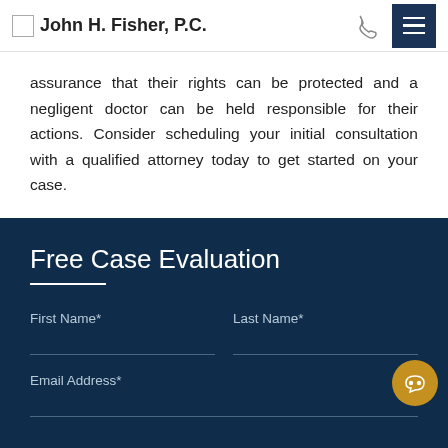John H. Fisher, P.C.
assurance that their rights can be protected and a negligent doctor can be held responsible for their actions. Consider scheduling your initial consultation with a qualified attorney today to get started on your case.
Free Case Evaluation
First Name*
Last Name*
Email Address*